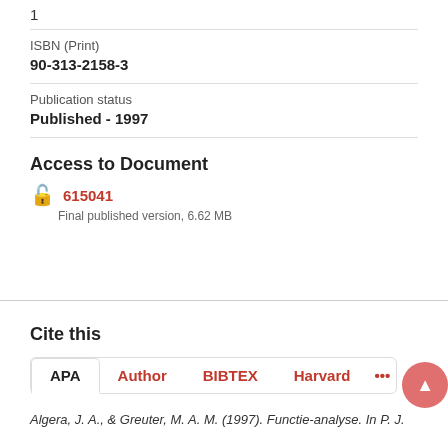1
| ISBN (Print) |  |
| 90-313-2158-3 |  |
| Publication status |  |
| Published - 1997 |  |
Access to Document
615041
Final published version, 6.62 MB
Cite this
APA | Author | BIBTEX | Harvard | ...
Algera, J. A., & Greuter, M. A. M. (1997). Functie-analyse. In P. J.